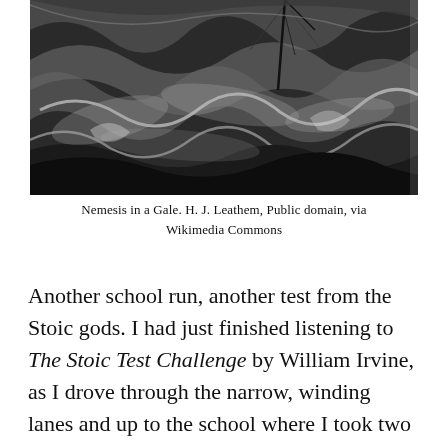[Figure (photo): Black and white photograph of a sailing ship in a stormy gale, with swirling waves and dramatic cloudy sky. The ship's mast is visible amid turbulent water.]
Nemesis in a Gale. H. J. Leathem, Public domain, via Wikimedia Commons
Another school run, another test from the Stoic gods. I had just finished listening to The Stoic Test Challenge by William Irvine, as I drove through the narrow, winding lanes and up to the school where I took two attempts to reverse